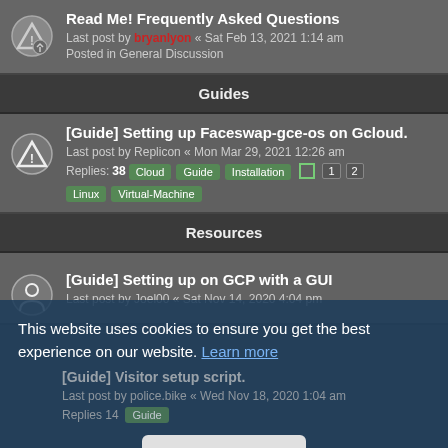Read Me! Frequently Asked Questions
Last post by bryanlyon « Sat Feb 13, 2021 1:14 am
Posted in General Discussion
Guides
[Guide] Setting up Faceswap-gce-os on Gcloud.
Last post by Replicon « Mon Mar 29, 2021 12:26 am
Replies: 38  Cloud  Guide  Installation  1  2  Linux  Virtual-Machine
Resources
[Resource] Google Colab Notebook
Last post by Andentze « Fri Aug 26, 2022 3:08 pm
Replies: 29  1  2
[Guide] Visitor setup script.
Last post by police.bike « Wed Nov 18, 2020 1:04 am
Replies 14  Guide
[Guide] Setting up on GCP with a GUI
Last post by Joel00 « Sat Nov 14, 2020 4:04 pm
This website uses cookies to ensure you get the best experience on our website. Learn more  Got it!